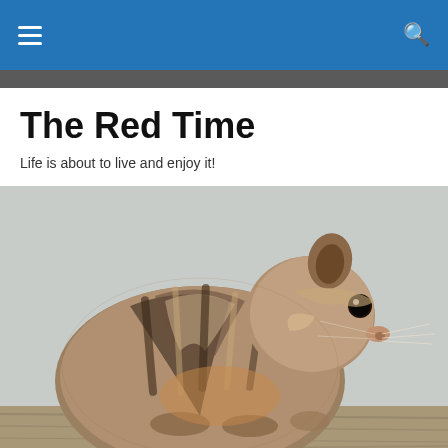Navigation bar with hamburger menu and search icon
The Red Time
Life is about to live and enjoy it!
[Figure (photo): Close-up photograph of a chipmunk with brown and black stripes sitting on a weathered wooden surface, viewed in profile facing right]